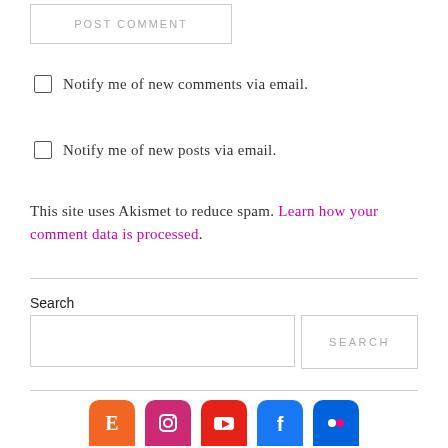POST COMMENT
Notify me of new comments via email.
Notify me of new posts via email.
This site uses Akismet to reduce spam. Learn how your comment data is processed.
Search
[Figure (other): Social media icons row: Etsy (orange), Instagram (pink), YouTube (red), Facebook (blue), Flickr (blue)]